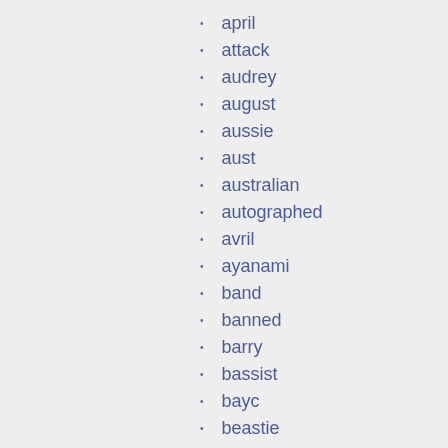april
attack
audrey
august
aussie
aust
australian
autographed
avril
ayanami
band
banned
barry
bassist
bayc
beastie
beatles
benatar